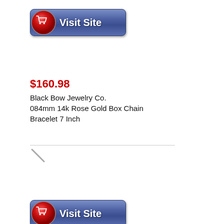[Figure (other): Blue 'Visit Site' button with red shopping cart icon on left and white bold text 'Visit Site' on blue gradient background]
$160.98
Black Bow Jewelry Co.
084mm 14k Rose Gold Box Chain Bracelet 7 Inch
[Figure (other): Horizontal divider line followed by a diagonal grey slash/arrow icon]
[Figure (other): Blue 'Visit Site' button with red shopping cart icon on left and white bold text 'Visit Site' on blue gradient background (partial, bottom of page)]